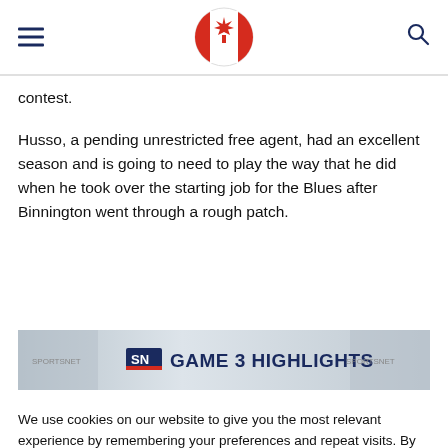Canadian flag logo with hamburger menu and search icon
contest.
Husso, a pending unrestricted free agent, had an excellent season and is going to need to play the way that he did when he took over the starting job for the Blues after Binnington went through a rough patch.
[Figure (screenshot): SN Game 3 Highlights video thumbnail strip showing Sportsnet branding]
We use cookies on our website to give you the most relevant experience by remembering your preferences and repeat visits. By clicking "Accept All", you consent to the use of ALL the cookies. However, you may visit "Cookie Settings" to provide a controlled consent.